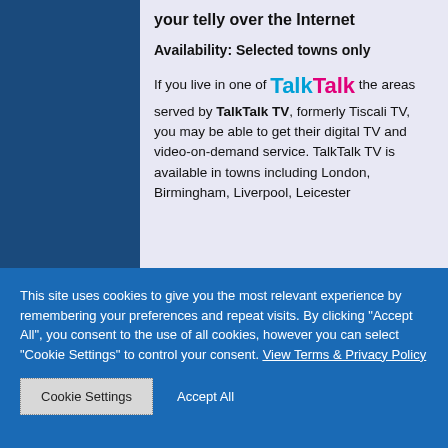your telly over the Internet
Availability: Selected towns only
If you live in one of TalkTalk the areas served by TalkTalk TV, formerly Tiscali TV, you may be able to get their digital TV and video-on-demand service. TalkTalk TV is available in towns including London, Birmingham, Liverpool, Leicester
This site uses cookies to give you the most relevant experience by remembering your preferences and repeat visits. By clicking "Accept All", you consent to the use of all cookies, however you can select "Cookie Settings" to control your consent. View Terms & Privacy Policy
Cookie Settings
Accept All